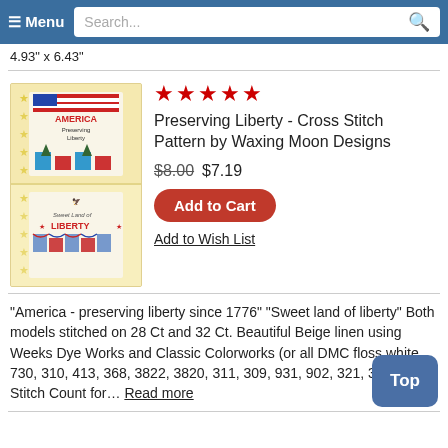≡ Menu  Search...
4.93" x 6.43"
[Figure (photo): Cross stitch pattern product image showing two designs: 'America - preserving liberty since 1776' and 'Sweet land of Liberty' on yellow star background]
★★★★★
Preserving Liberty - Cross Stitch Pattern by Waxing Moon Designs
$8.00 $7.19
Add to Cart
Add to Wish List
"America - preserving liberty since 1776" "Sweet land of liberty" Both models stitched on 28 Ct and 32 Ct. Beautiful Beige linen using Weeks Dye Works and Classic Colorworks (or all DMC floss white, 730, 310, 413, 368, 3822, 3820, 311, 309, 931, 902, 321, 3031). Stitch Count for... Read more